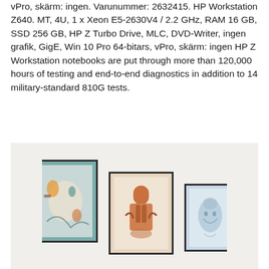vPro, skärm: ingen. Varunummer: 2632415. HP Workstation Z640. MT, 4U, 1 x Xeon E5-2630V4 / 2.2 GHz, RAM 16 GB, SSD 256 GB, HP Z Turbo Drive, MLC, DVD-Writer, ingen grafik, GigE, Win 10 Pro 64-bitars, vPro, skärm: ingen HP Z Workstation notebooks are put through more than 120,000 hours of testing and end-to-end diagnostics in addition to 14 military-standard 810G tests.
[Figure (photo): Three framed abstract art prints hanging on a light wall. Left frame is largest with teal/blue-green background and abstract shapes. Middle frame has a beige/cream background with orange/terracotta figure shapes. Right frame is smallest with light blue-grey background and abstract face/oval shapes.]